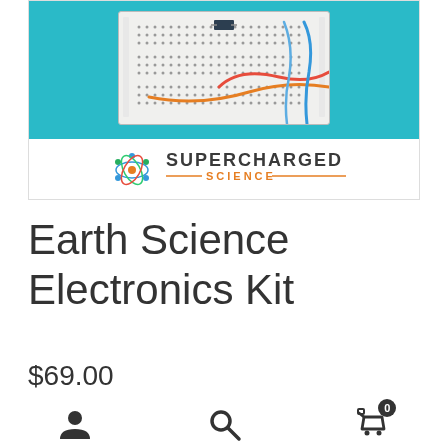[Figure (photo): Product image showing a breadboard with colorful wires (red, orange, blue) on a teal/cyan background, with the Supercharged Science logo below]
Earth Science Electronics Kit
$69.00
[Figure (other): Bottom navigation bar with user account icon, search icon, and shopping cart icon with badge showing 0]